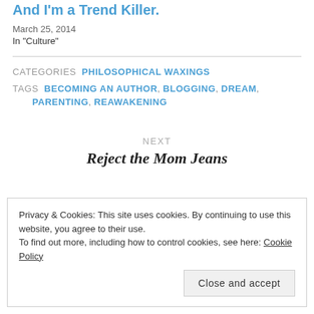And I'm a Trend Killer.
March 25, 2014
In "Culture"
CATEGORIES  PHILOSOPHICAL WAXINGS
TAGS  BECOMING AN AUTHOR,  BLOGGING,  DREAM,  PARENTING,  REAWAKENING
NEXT
Reject the Mom Jeans
Privacy & Cookies: This site uses cookies. By continuing to use this website, you agree to their use.
To find out more, including how to control cookies, see here: Cookie Policy
Close and accept